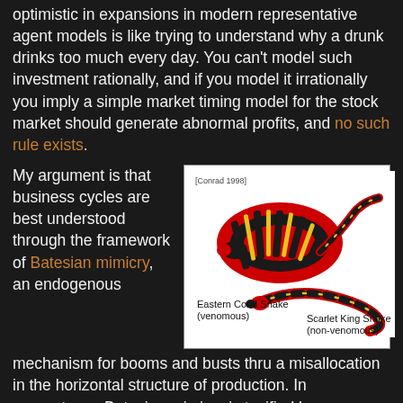optimistic in expansions in modern representative agent models is like trying to understand why a drunk drinks too much every day. You can't model such investment rationally, and if you model it irrationally you imply a simple market timing model for the stock market should generate abnormal profits, and no such rule exists.
[Figure (photo): Photograph comparing Eastern Coral Snake (venomous) with Scarlet King Snake (non-venomous), showing their similar red, black, and yellow banding patterns. Labeled '[Conrad 1998]'.]
My argument is that business cycles are best understood through the framework of Batesian mimicry, an endogenous mechanism for booms and busts thru a misallocation in the horizontal structure of production. In ecosystems, Batesian mimicry is typified by a situation where a harmless species (the mimic) evolves to imitate the warning signals of a harmful species (the model) directed at a common predator (the dupe). For example, venomous coral snakes have red, yellow, and black bands, while the non-venomous scarlet